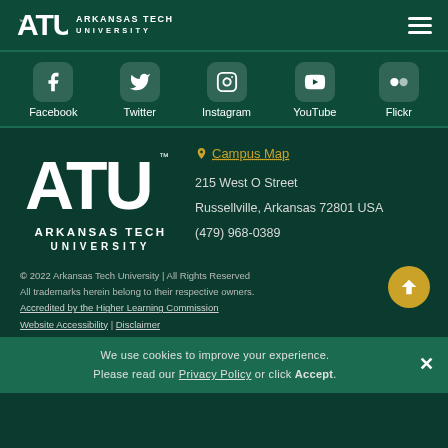Arkansas Tech University - ATU Logo and navigation menu
[Figure (logo): ATU Arkansas Tech University logo with hamburger menu icon]
[Figure (infographic): Social media icons row: Facebook, Twitter, Instagram, YouTube, Flickr]
[Figure (logo): Arkansas Tech University ATU large logo]
Campus Map
215 West O Street
Russellville, Arkansas 72801 USA
(479) 968-0389
© 2022 Arkansas Tech University | All Rights Reserved
All trademarks herein belong to their respective owners.
Accredited by the Higher Learning Commission
Website Accessibility | Disclaimer
We use cookies to improve your experience. Please read our Privacy Policy or click Accept.